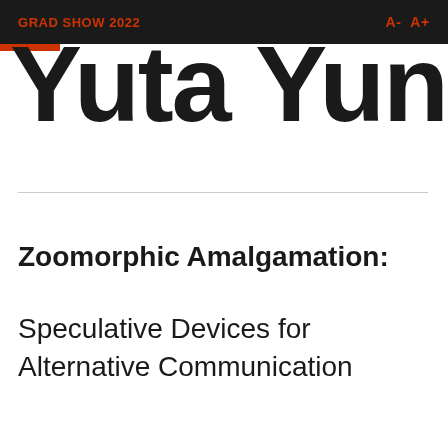GRAD SHOW 2022   A-  A+
Yuta Yung
Zoomorphic Amalgamation:
Speculative Devices for Alternative Communication